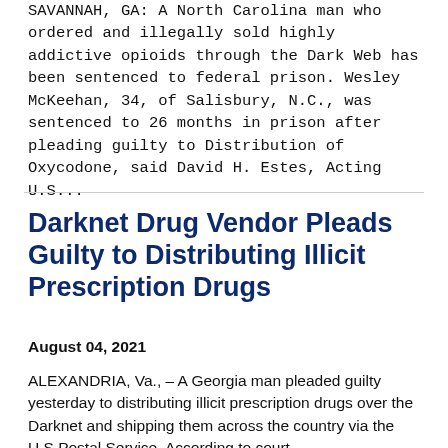SAVANNAH, GA: A North Carolina man who ordered and illegally sold highly addictive opioids through the Dark Web has been sentenced to federal prison. Wesley McKeehan, 34, of Salisbury, N.C., was sentenced to 26 months in prison after pleading guilty to Distribution of Oxycodone, said David H. Estes, Acting U.S...
Darknet Drug Vendor Pleads Guilty to Distributing Illicit Prescription Drugs
August 04, 2021
ALEXANDRIA, Va., – A Georgia man pleaded guilty yesterday to distributing illicit prescription drugs over the Darknet and shipping them across the country via the U.S Postal Service. According to court